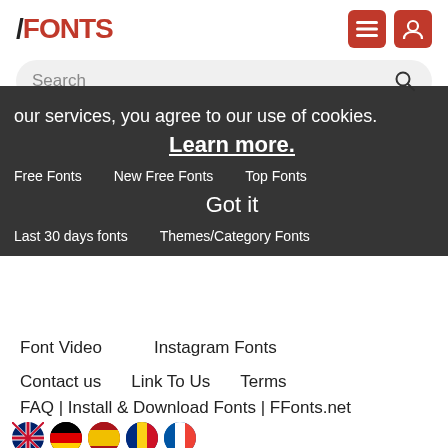FFONTS
Search
our services, you agree to our use of cookies. Learn more. Got it
Free Fonts    New Free Fonts    Top Fonts
Last 30 days fonts    Themes/Category Fonts
Font Video    Instagram Fonts
Contact us    Link To Us    Terms
FAQ | Install & Download Fonts | FFonts.net
EN    DE    ES    RO    FR